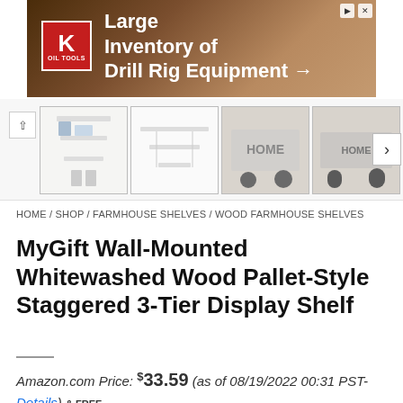[Figure (other): Advertisement banner for King Oil Tools – Large Inventory of Drill Rig Equipment with arrow]
[Figure (other): Product thumbnail gallery showing four images of whitewashed wood wall-mounted shelf, with left/right navigation arrows]
HOME / SHOP / FARMHOUSE SHELVES / WOOD FARMHOUSE SHELVES
MyGift Wall-Mounted Whitewashed Wood Pallet-Style Staggered 3-Tier Display Shelf
Amazon.com Price: $33.59 (as of 08/19/2022 00:31 PST- Details) & FREE